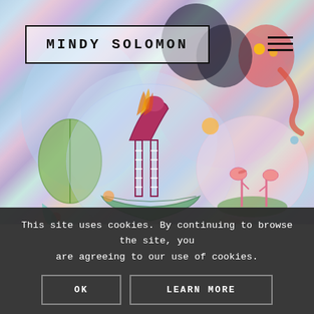[Figure (illustration): Colorful surrealist artwork featuring flamingo-like figures with striped legs standing in a decorative bowl, surrounded by abstract shapes, bubbles, and fantastical creatures in pastel blues, pinks, purples, and greens. A flamingo pair appears in a circular vignette on the right side.]
MINDY SOLOMON
This site uses cookies. By continuing to browse the site, you are agreeing to our use of cookies.
OK
LEARN MORE